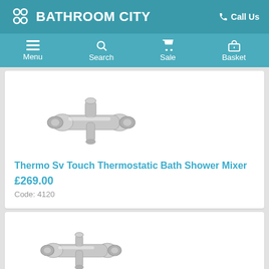BATHROOM CITY   Call Us
Menu  Search  Sale  Basket
[Figure (photo): Chrome thermostatic bath shower mixer faucet with two handles and spout]
Thermo Sv Touch Thermostatic Bath Shower Mixer
£269.00
Code: 4120
[Figure (photo): Chrome thermostatic bath shower mixer faucet, second product]